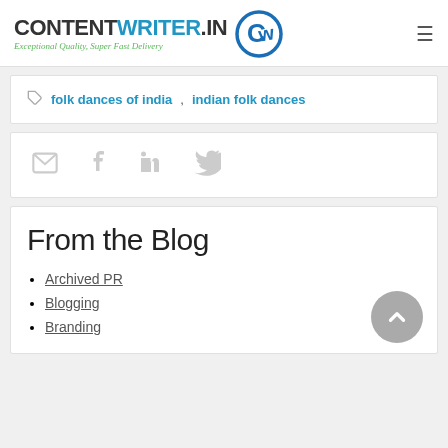CONTENTWRITER.IN — Exceptional Quality, Super Fast Delivery
folk dances of india, indian folk dances
[Figure (other): Social share icons: email, Facebook, LinkedIn, Twitter]
From the Blog
Archived PR
Blogging
Branding